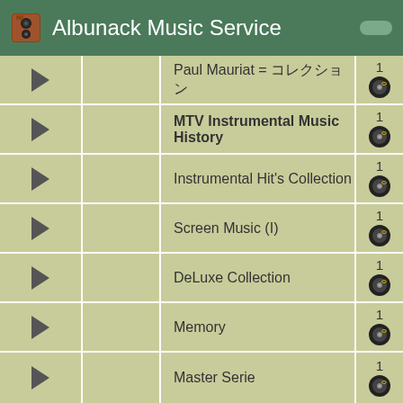Albunack Music Service
Paul Mauriat = コレクション
MTV Instrumental Music History
Instrumental Hit's Collection
Screen Music (I)
DeLuxe Collection
Memory
Master Serie